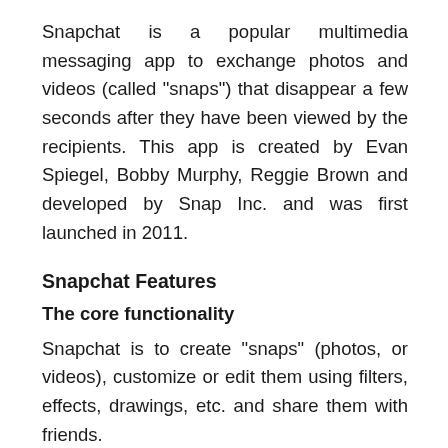Snapchat is a popular multimedia messaging app to exchange photos and videos (called "snaps") that disappear a few seconds after they have been viewed by the recipients. This app is created by Evan Spiegel, Bobby Murphy, Reggie Brown and developed by Snap Inc. and was first launched in 2011.
Snapchat Features
The core functionality
Snapchat is to create "snaps" (photos, or videos), customize or edit them using filters, effects, drawings, etc. and share them with friends.